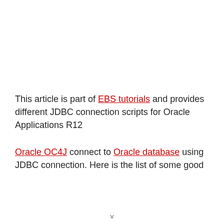This article is part of EBS tutorials and provides different JDBC connection scripts for Oracle Applications R12
Oracle OC4J connect to Oracle database using JDBC connection. Here is the list of some good